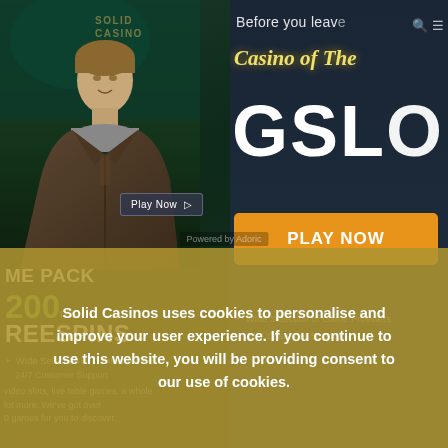[Figure (screenshot): Casino website screenshot showing two overlapping popups: a left panel with game pack promotion featuring 200 Euros and Freespins, and a right panel showing Casino of The Month with GSLO branding and Play Now button, overlaid with a cookie consent notice.]
Before you leave
Casino of The
GSLO
PLAY NOW
ME PACK
200 ros
REESPINS
Wide Selection of Game Providers
24/7 Customer Support
video slots, live table games, a whole lot more. We've got over 0 games for you to discover.
Solid Casinos uses cookies to personalise and improve your user experience. If you continue to use this website, you will be providing consent to our use of cookies.
Powered by Adoric